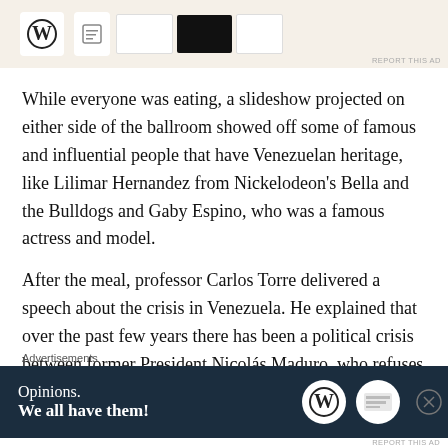[Figure (screenshot): Advertisement banner at top showing WordPress logo and document/template images on cream background]
While everyone was eating, a slideshow projected on either side of the ballroom showed off some of famous and influential people that have Venezuelan heritage, like Lilimar Hernandez from Nickelodeon's Bella and the Bulldogs and Gaby Espino, who was a famous actress and model.
After the meal, professor Carlos Torre delivered a speech about the crisis in Venezuela. He explained that over the past few years there has been a political crisis between former President Nicolás Maduro, who refuses to yield his power, and opposition leader Juan Guaido.
[Figure (screenshot): Advertisement banner at bottom with dark navy background reading 'Opinions. We all have them!' with WordPress and other logos on right side]